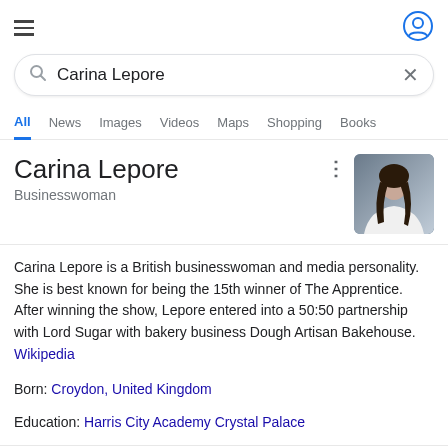Google Search UI header with hamburger menu and user icon
Carina Lepore
Carina Lepore
Businesswoman
Carina Lepore is a British businesswoman and media personality. She is best known for being the 15th winner of The Apprentice. After winning the show, Lepore entered into a 50:50 partnership with Lord Sugar with bakery business Dough Artisan Bakehouse. Wikipedia
Born: Croydon, United Kingdom
Education: Harris City Academy Crystal Palace